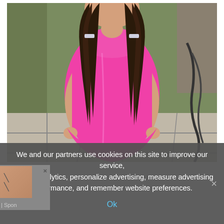[Figure (photo): A young girl with long dark wavy hair wearing a bright pink sleeveless dress, standing on a tiled floor indoors. Background shows a green wall and some cords/cables.]
We and our partners use cookies on this site to improve our service, perform analytics, personalize advertising, measure advertising performance, and remember website preferences.
Ok